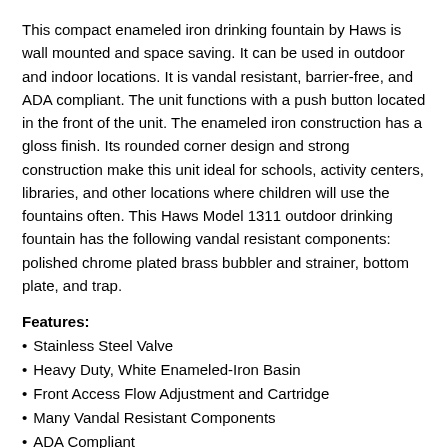This compact enameled iron drinking fountain by Haws is wall mounted and space saving. It can be used in outdoor and indoor locations. It is vandal resistant, barrier-free, and ADA compliant. The unit functions with a push button located in the front of the unit. The enameled iron construction has a gloss finish. Its rounded corner design and strong construction make this unit ideal for schools, activity centers, libraries, and other locations where children will use the fountains often. This Haws Model 1311 outdoor drinking fountain has the following vandal resistant components: polished chrome plated brass bubbler and strainer, bottom plate, and trap.
Features:
Stainless Steel Valve
Heavy Duty, White Enameled-Iron Basin
Front Access Flow Adjustment and Cartridge
Many Vandal Resistant Components
ADA Compliant
Barrier-Free
1 KHIPS Trap